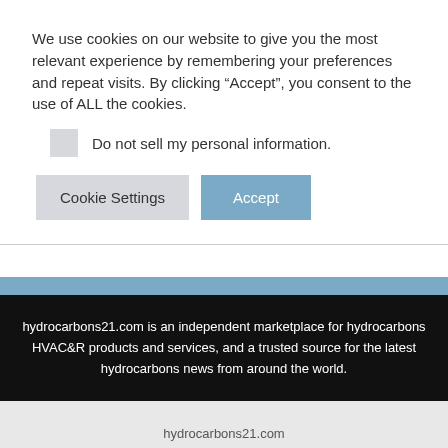We use cookies on our website to give you the most relevant experience by remembering your preferences and repeat visits. By clicking “Accept”, you consent to the use of ALL the cookies.
Do not sell my personal information.
Cookie Settings
Accept
hydrocarbons21.com is an independent marketplace for hydrocarbons HVAC&R products and services, and a trusted source for the latest hydrocarbons news from around the world.
hydrocarbons21.com
Copyright © 2006-2022